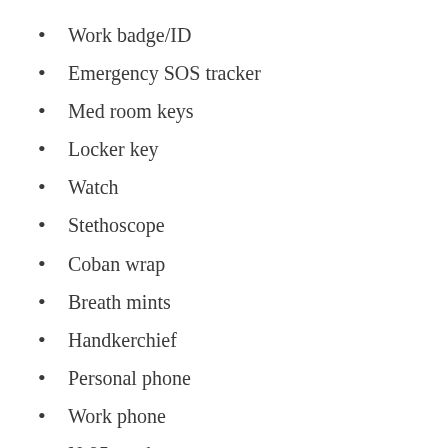Work badge/ID
Emergency SOS tracker
Med room keys
Locker key
Watch
Stethoscope
Coban wrap
Breath mints
Handkerchief
Personal phone
Work phone
N-95 mask
Safety goggles
In addition to all that stuff, I have a mini clipboard with my daily brain (notes and plans